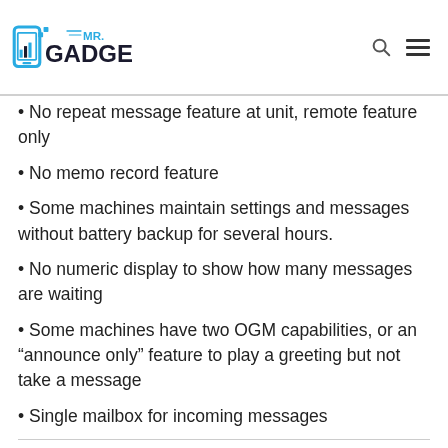[Figure (logo): Mr. Gadget logo with blue smartphone icon and dark blue text]
No repeat message feature at unit, remote feature only
No memo record feature
Some machines maintain settings and messages without battery backup for several hours.
No numeric display to show how many messages are waiting
Some machines have two OGM capabilities, or an “announce only” feature to play a greeting but not take a message
Single mailbox for incoming messages
Can’t think of any other basic or high-end features